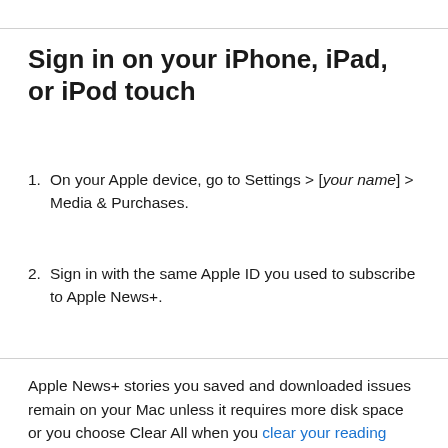Sign in on your iPhone, iPad, or iPod touch
On your Apple device, go to Settings > [your name] > Media & Purchases.
Sign in with the same Apple ID you used to subscribe to Apple News+.
Apple News+ stories you saved and downloaded issues remain on your Mac unless it requires more disk space or you choose Clear All when you clear your reading history, at which time they’re deleted. You can also remove issues yourself.